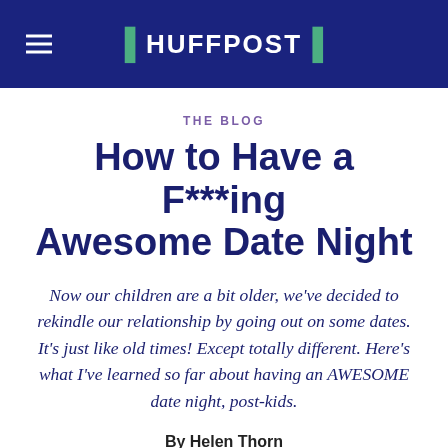HUFFPOST
THE BLOG
How to Have a F***ing Awesome Date Night
Now our children are a bit older, we've decided to rekindle our relationship by going out on some dates. It's just like old times! Except totally different. Here's what I've learned so far about having an AWESOME date night, post-kids.
By Helen Thorn
Comedian, Writer and one-half of Scummy Mummies
02/12/2015 12:24pm GMT | Updated December 2, 2016